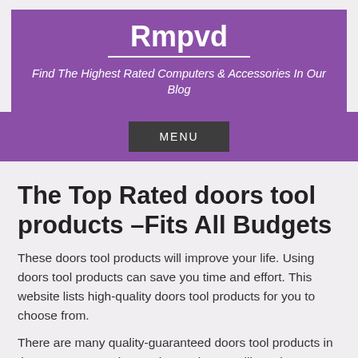Rmpvd
Find The Highest Rated Computers & Accessories In Our Blog
MENU
The Top Rated doors tool products –Fits All Budgets
These doors tool products will improve your life. Using doors tool products can save you time and effort. This website lists high-quality doors tool products for you to choose from.
There are many quality-guaranteed doors tool products in the past you can choose the product you like to buy.